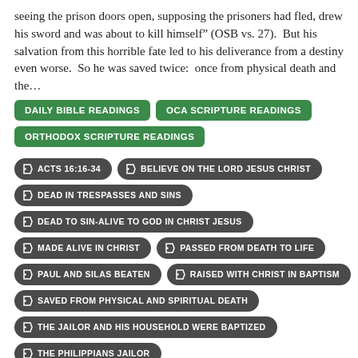seeing the prison doors open, supposing the prisoners had fled, drew his sword and was about to kill himself” (OSB vs. 27).  But his salvation from this horrible fate led to his deliverance from a destiny even worse.  So he was saved twice:  once from physical death and the…
DAILY BIBLE READINGS
OCA SCRIPTURE READINGS
ORTHODOX SCRIPTURE READINGS
ACTS 16:16-34
BELIEVE ON THE LORD JESUS CHRIST
DEAD IN TRESPASSES AND SINS
DEAD TO SIN-ALIVE TO GOD IN CHRIST JESUS
MADE ALIVE IN CHRIST
PASSED FROM DEATH TO LIFE
PAUL AND SILAS BEATEN
RAISED WITH CHRIST IN BAPTISM
SAVED FROM PHYSICAL AND SPIRITUAL DEATH
THE JAILOR AND HIS HOUSEHOLD WERE BAPTIZED
THE PHILIPPIANS JAILOR
TRANSFERRED FROM SPIRITUAL DEATH TO ETERNAL LIFE